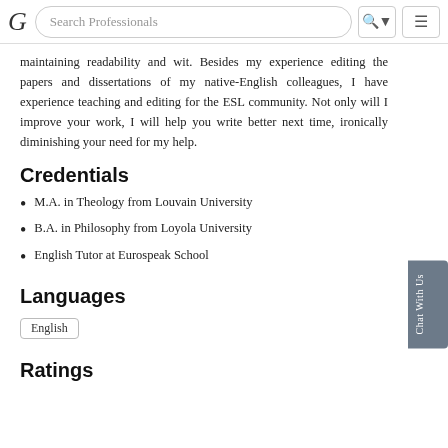Search Professionals
maintaining readability and wit. Besides my experience editing the papers and dissertations of my native-English colleagues, I have experience teaching and editing for the ESL community. Not only will I improve your work, I will help you write better next time, ironically diminishing your need for my help.
Credentials
M.A. in Theology from Louvain University
B.A. in Philosophy from Loyola University
English Tutor at Eurospeak School
Languages
English
Ratings